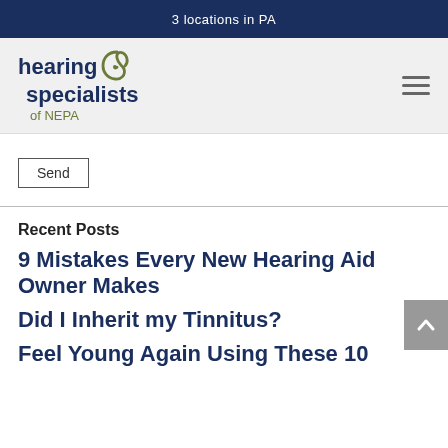3 locations in PA
[Figure (logo): Hearing Specialists of NEPA logo with olive green spiral swirl icon and dark navy text]
Send
Recent Posts
9 Mistakes Every New Hearing Aid Owner Makes
Did I Inherit my Tinnitus?
Feel Young Again Using These 10